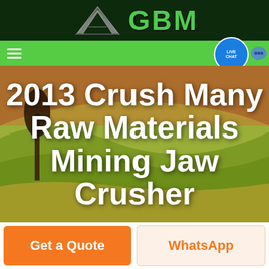[Figure (logo): GBM company logo with geometric arrow/mountain shape in silver/dark on dark green background, with green GBM text]
[Figure (screenshot): Green navigation bar with hamburger menu icon on left and a blue circular Live Chat button with speech bubble icon on the right]
2013 Crush Many Raw Materials Mining Jaw Crusher
[Figure (photo): Aerial landscape photo of rolling farmland fields with warm golden and green tones, a lone tree visible on the left side]
Get a Quote
WhatsApp